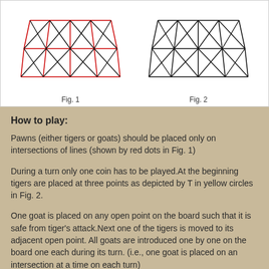[Figure (illustration): Two game board diagrams side by side. Fig. 1 shows a board with red lines marking intersections (grid with diagonal lines forming trapezoid shapes). Fig. 2 shows the same board in black lines only.]
Fig. 1
Fig. 2
How to play:
Pawns (either tigers or goats) should be placed only on intersections of lines (shown by red dots in Fig. 1)
During a turn only one coin has to be played.At the beginning tigers are placed at three points as depicted by T in yellow circles in Fig. 2.
One goat is placed on any open point on the board such that it is safe from tiger's attack.Next one of the tigers is moved to its adjacent open point. All goats are introduced one by one on the board one each during its turn. (i.e., one goat is placed on an intersection at a time on each turn)